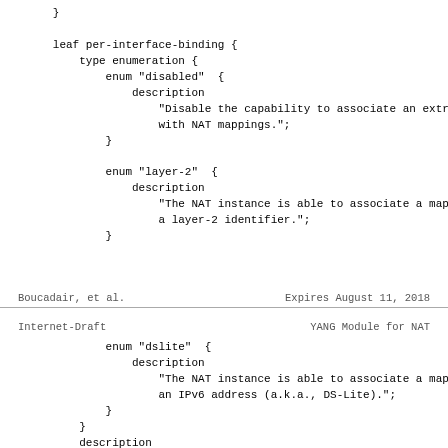}

        leaf per-interface-binding {
            type enumeration {
                enum "disabled"  {
                    description
                        "Disable the capability to associate an extr
                        with NAT mappings.";
                }

                enum "layer-2"  {
                    description
                        "The NAT instance is able to associate a map
                        a layer-2 identifier.";
                }
Boucadair, et al.        Expires August 11, 2018
Internet-Draft                   YANG Module for NAT
enum "dslite"  {
                    description
                        "The NAT instance is able to associate a map
                        an IPv6 address (a.k.a., DS-Lite).";
                }
            }
            description